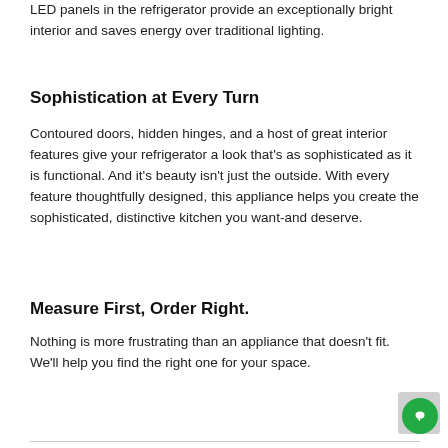LED panels in the refrigerator provide an exceptionally bright interior and saves energy over traditional lighting.
Sophistication at Every Turn
Contoured doors, hidden hinges, and a host of great interior features give your refrigerator a look that's as sophisticated as it is functional. And it's beauty isn't just the outside. With every feature thoughtfully designed, this appliance helps you create the sophisticated, distinctive kitchen you want-and deserve.
Measure First, Order Right.
Nothing is more frustrating than an appliance that doesn't fit. We'll help you find the right one for your space.